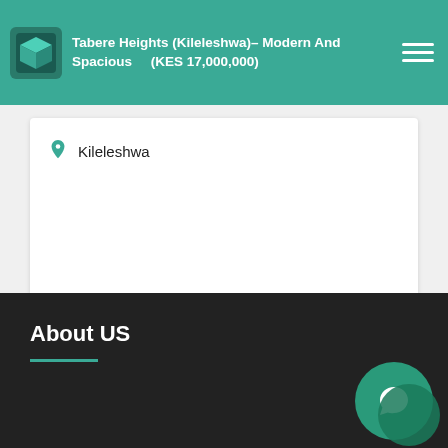Tabere Heights (Kileleshwa)– Modern And Spacious (KES 17,000,000)
Kileleshwa
[Figure (photo): Advertisement banner for SALIXNIGRA.COM with text 'Deviens trader et investis pour toi même sur les marchés' on dark background with trading chart visuals]
About US